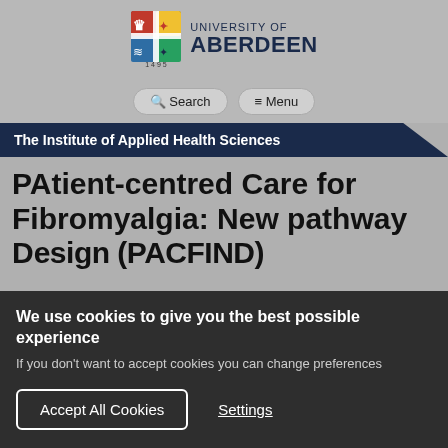[Figure (logo): University of Aberdeen logo with crest (1495) and text 'UNIVERSITY OF ABERDEEN']
Search  Menu
The Institute of Applied Health Sciences
PAtient-centred Care for Fibromyalgia: New pathway Design (PACFIND)
We use cookies to give you the best possible experience
If you don't want to accept cookies you can change preferences
Accept All Cookies   Settings